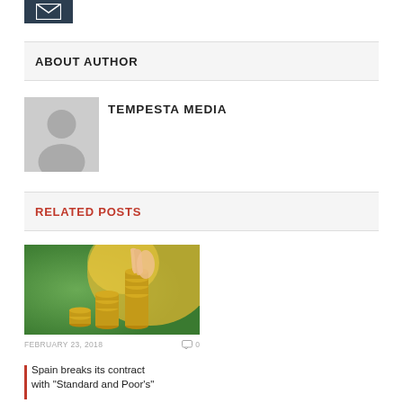[Figure (logo): Dark background icon with envelope/mail symbol]
ABOUT AUTHOR
[Figure (photo): Generic grey avatar silhouette placeholder image for author]
TEMPESTA MEDIA
RELATED POSTS
[Figure (photo): Photo of a hand stacking coins with bokeh golden background]
FEBRUARY 23, 2018   0
Spain breaks its contract with "Standard and Poor's"